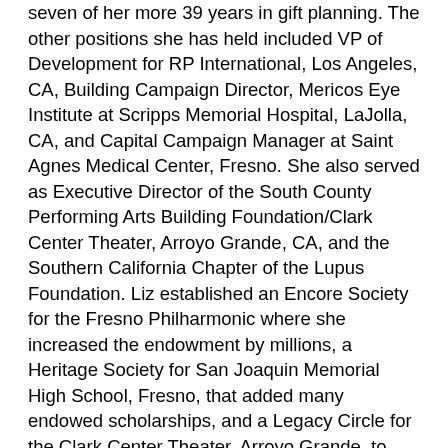seven of her more 39 years in gift planning. The other positions she has held included VP of Development for RP International, Los Angeles, CA, Building Campaign Director, Mericos Eye Institute at Scripps Memorial Hospital, LaJolla, CA, and Capital Campaign Manager at Saint Agnes Medical Center, Fresno. She also served as Executive Director of the South County Performing Arts Building Foundation/Clark Center Theater, Arroyo Grande, CA, and the Southern California Chapter of the Lupus Foundation. Liz established an Encore Society for the Fresno Philharmonic where she increased the endowment by millions, a Heritage Society for San Joaquin Memorial High School, Fresno, that added many endowed scholarships, and a Legacy Circle for the Clark Center Theater, Arroyo Grande, to sustain its operations. Fifteen years ago, Liz was recruited to the Palm Springs Art Museum as its first Planned Giving Director, where she doubled the number of households in the Legacy Circle by initiating a Legacy Day at the Museum for members and their guests. Now she serves as Planned Giving Director for College of the Desert Foundation, Palm Desert, CA. She is the